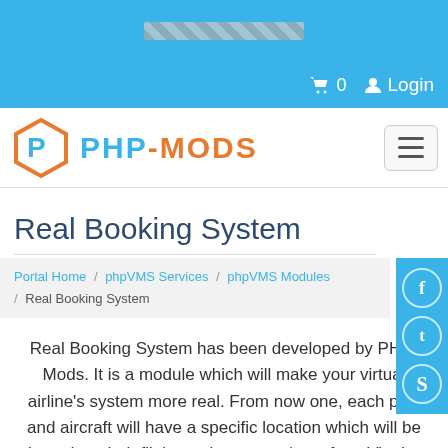[Figure (screenshot): Website top bar with loading/progress bar indicator on blue background]
🛒 0  👤 Login
[Figure (logo): PHP-MODS logo with hexagon P icon in orange and blue text]
Real Booking System
Portal Home / phpVMS Services / phpVMS Modules / Real Booking System
Real Booking System has been developed by PHP-Mods. It is a module which will make your virtual airline's system more real. From now one, each pilot and aircraft will have a specific location which will be based on their flights or jumpseats/transfers. Via the settings page of the